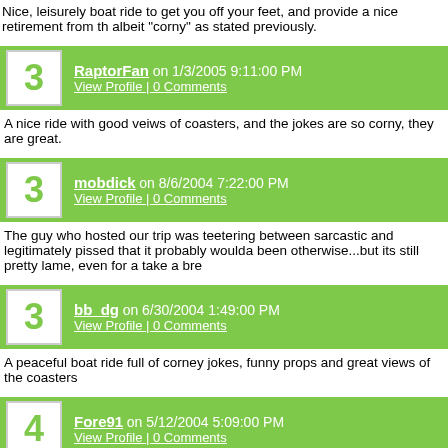Nice, leisurely boat ride to get you off your feet, and provide a nice retirement from the albeit "corny" as stated previously.
RaptorFan on 1/3/2005 9:11:00 PM | View Profile | 0 Comments
A nice ride with good veiws of coasters, and the jokes are so corny, they are great.
mobdick on 8/6/2004 7:22:00 PM | View Profile | 0 Comments
The guy who hosted our trip was teetering between sarcastic and legitimately pissed that it probably woulda been otherwise...but its still pretty lame, even for a take a bre
bb_dg on 6/30/2004 1:49:00 PM | View Profile | 0 Comments
A peaceful boat ride full of corney jokes, funny props and great views of the coasters
Fore91 on 5/12/2004 5:09:00 PM | View Profile | 0 Comments
this is probably in my opinion the most relaxing ride in the entire park. It could be